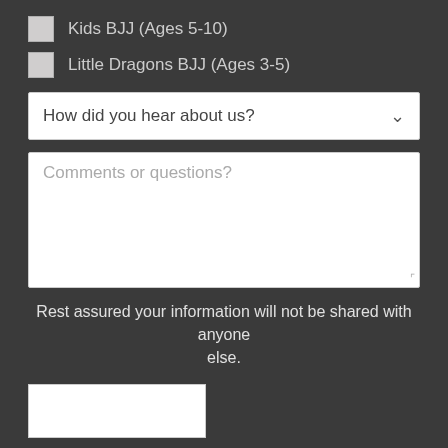Kids BJJ (Ages 5-10)
Little Dragons BJJ (Ages 3-5)
How did you hear about us?
Comments or questions?
Rest assured your information will not be shared with anyone else.
[Figure (other): reCAPTCHA or captcha verification box]
SUBMIT